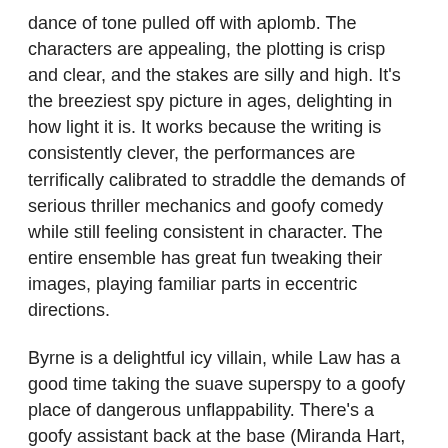dance of tone pulled off with aplomb. The characters are appealing, the plotting is crisp and clear, and the stakes are silly and high. It's the breeziest spy picture in ages, delighting in how light it is. It works because the writing is consistently clever, the performances are terrifically calibrated to straddle the demands of serious thriller mechanics and goofy comedy while still feeling consistent in character. The entire ensemble has great fun tweaking their images, playing familiar parts in eccentric directions.
Byrne is a delightful icy villain, while Law has a good time taking the suave superspy to a goofy place of dangerous unflappability. There's a goofy assistant back at the base (Miranda Hart, in a role calling on eager happiness incongruous to the dire stakes), a no-nonsense superior (Allison Janney), and a greasy Big Bad (Bobby Cannavale, pickling his charm). Best is dependable man-of-action Jason Statham as a macho master spy frustrated after being sidelined by McCarthy. He blusters about her inadequacies while bumbling his way through the story, making things worse for everyone. Showcasing a welcome sense of humor, he pokes fun at his usual roles. At one point he rattles off a